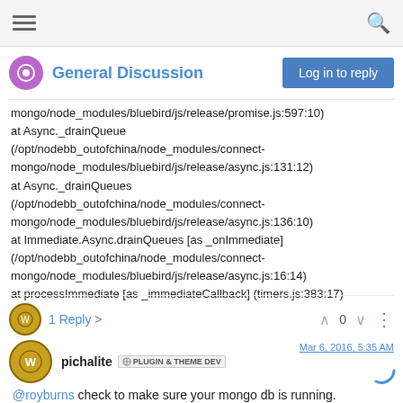General Discussion | Log in to reply
mongo/node_modules/bluebird/js/release/promise.js:597:10) at Async._drainQueue (/opt/nodebb_outofchina/node_modules/connect-mongo/node_modules/bluebird/js/release/async.js:131:12) at Async._drainQueues (/opt/nodebb_outofchina/node_modules/connect-mongo/node_modules/bluebird/js/release/async.js:136:10) at Immediate.Async.drainQueues [as _onImmediate] (/opt/nodebb_outofchina/node_modules/connect-mongo/node_modules/bluebird/js/release/async.js:16:14) at processImmediate [as _immediateCallback] (timers.js:383:17)
1 Reply
pichalite PLUGIN & THEME DEV   Mar 6, 2016, 5:35 AM
@royburns check to make sure your mongo db is running.